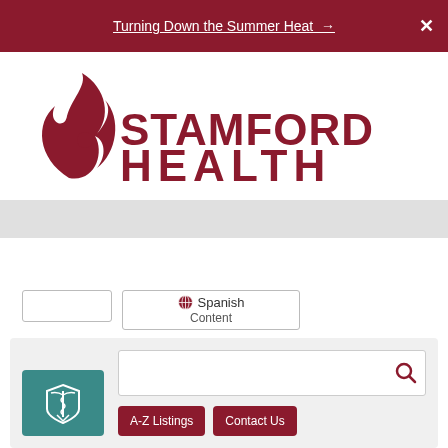Turning Down the Summer Heat →
[Figure (logo): Stamford Health logo with stylized flame/figure icon in dark red and the text STAMFORD HEALTH]
Spanish Content
[Figure (screenshot): Search interface with search bar, A-Z Listings button, Contact Us button, and a teal medical caduceus icon box on the left]